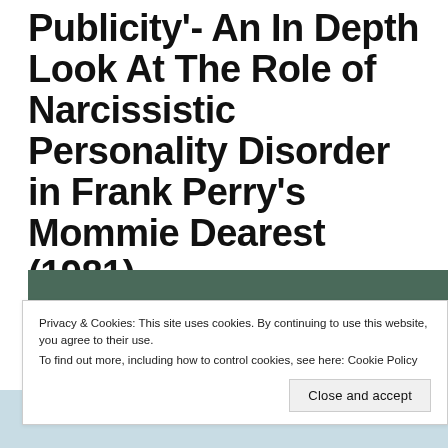Publicity'- An In Depth Look At The Role of Narcissistic Personality Disorder in Frank Perry's Mommie Dearest (1981)
[Figure (photo): Partial photo strip visible behind cookie banner — appears to be a film still or portrait, dark teal/green tones at top, lighter tones at bottom]
Privacy & Cookies: This site uses cookies. By continuing to use this website, you agree to their use.
To find out more, including how to control cookies, see here: Cookie Policy
Close and accept